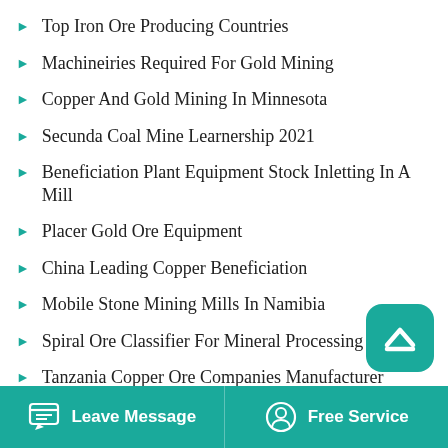Top Iron Ore Producing Countries
Machineiries Required For Gold Mining
Copper And Gold Mining In Minnesota
Secunda Coal Mine Learnership 2021
Beneficiation Plant Equipment Stock Inletting In A Mill
Placer Gold Ore Equipment
China Leading Copper Beneficiation
Mobile Stone Mining Mills In Namibia
Spiral Ore Classifier For Mineral Processing
Tanzania Copper Ore Companies Manufacturer
Leave Message   Free Service